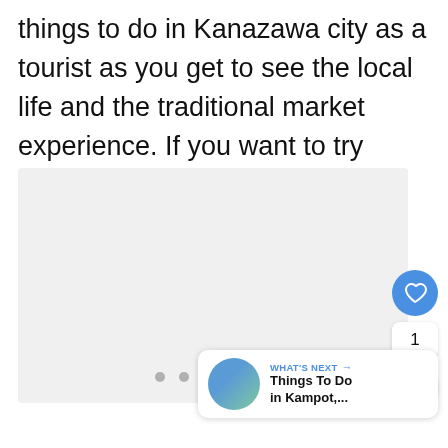things to do in Kanazawa city as a tourist as you get to see the local life and the traditional market experience. If you want to try some street food, look for small shops in Omicho.
[Figure (photo): A large image placeholder area with light gray background, representing a photo of Omicho market or Kanazawa city]
1
WHAT'S NEXT → Things To Do in Kampot,...